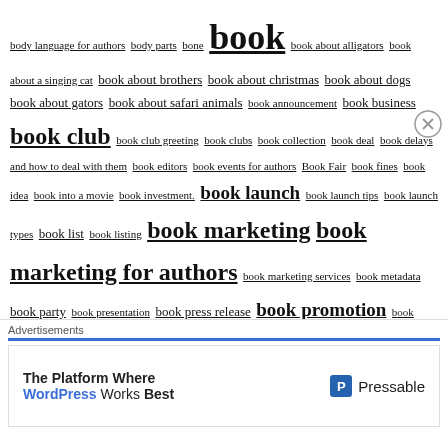body language for authors body parts bone book book about alligators book about a singing cat book about brothers book about christmas book about dogs book about gators book about safari animals book announcement book business book club book club greeting book clubs book collection book deal book delays and how to deal with them book editors book events for authors Book Fair book fines book idea book into a movie book investment. book launch book launch tips book launch types book list book listing book marketing book marketing for authors book marketing services book metadata book party book presentation book press release book promotion book promotion for authors book publisher book publisher canada book publisher hamilton book publisher hamilton ontairo book publisher hamilton ontario book publisher in canada book publisher in hamilton book publisher in Hamilton Ontario book publisher in the us book publisher local book publisher near me book publisher ontario book publishers in hamilton book publisher
[Figure (other): Advertisement banner: 'The Platform Where WordPress Works Best' with Pressable logo]